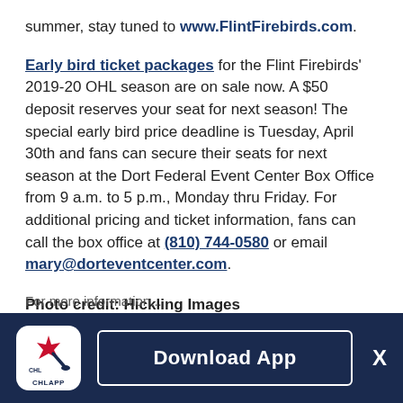summer, stay tuned to www.FlintFirebirds.com.
Early bird ticket packages for the Flint Firebirds' 2019-20 OHL season are on sale now. A $50 deposit reserves your seat for next season! The special early bird price deadline is Tuesday, April 30th and fans can secure their seats for next season at the Dort Federal Event Center Box Office from 9 a.m. to 5 p.m., Monday thru Friday. For additional pricing and ticket information, fans can call the box office at (810) 744-0580 or email mary@dorteventcenter.com.
Photo credit: Hickling Images
[Figure (other): CHL App download banner at bottom of page with CHL App icon, Download App button, and X close button on dark navy background]